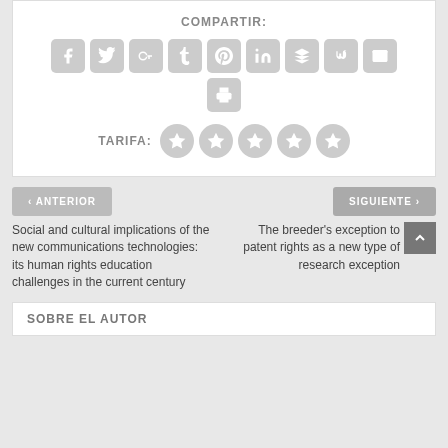COMPARTIR:
[Figure (screenshot): Social share buttons: Facebook, Twitter, Google+, Tumblr, Pinterest, LinkedIn, Buffer, StumbleUpon, Email, Print]
TARIFA:
[Figure (other): Five gray star rating icons]
< ANTERIOR
SIGUIENTE >
Social and cultural implications of the new communications technologies: its human rights education challenges in the current century
The breeder's exception to patent rights as a new type of research exception
SOBRE EL AUTOR